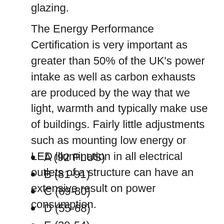glazing.
The Energy Performance Certification is very important as greater than 50% of the UK’s power intake as well as carbon exhausts are produced by the way that we light, warmth and typically make use of buildings. Fairly little adjustments such as mounting low energy or LED illumination in all electrical outlets of a structure can have an extensive result on power consumption.
A (92 PLUS)
B (81-91)
C (69-80)
D (55-68)
E (39-54)
F (21-38)